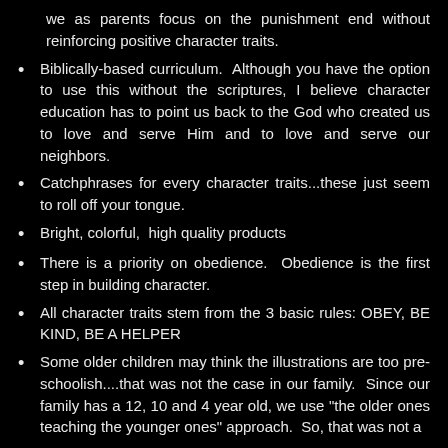we as parents focus on the punishment end without reinforcing positive character traits.
Biblically-based curriculum. Although you have the option to use this without the scriptures, I believe character education has to point us back to the God who created us to love and serve Him and to love and serve our neighbors.
Catchphrases for every character traits...these just seem to roll off your tongue.
Bright, colorful, high quality products
There is a priority on obedience. Obedience is the first step in building character.
All character traits stem from the 3 basic rules: OBEY, BE KIND, BE A HELPER
Some older children may think the illustrations are too pre-schoolish....that was not the case in our family. Since our family has a 12, 10 and 4 year old, we use "the older ones teaching the younger ones" approach. So, that was not a